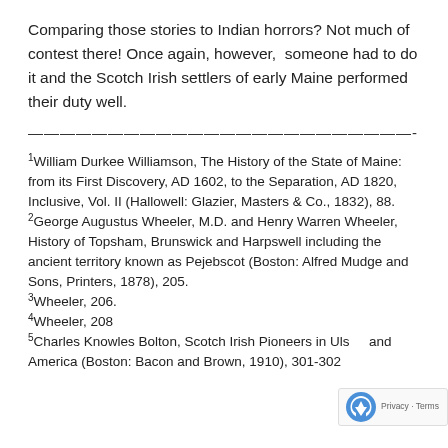Comparing those stories to Indian horrors? Not much of contest there! Once again, however, someone had to do it and the Scotch Irish settlers of early Maine performed their duty well.
————————————————————————-
1William Durkee Williamson, The History of the State of Maine: from its First Discovery, AD 1602, to the Separation, AD 1820, Inclusive, Vol. II (Hallowell: Glazier, Masters & Co., 1832), 88.
2George Augustus Wheeler, M.D. and Henry Warren Wheeler, History of Topsham, Brunswick and Harpswell including the ancient territory known as Pejebscot (Boston: Alfred Mudge and Sons, Printers, 1878), 205.
3Wheeler, 206.
4Wheeler, 208
5Charles Knowles Bolton, Scotch Irish Pioneers in Ulster and America (Boston: Bacon and Brown, 1910), 301-302